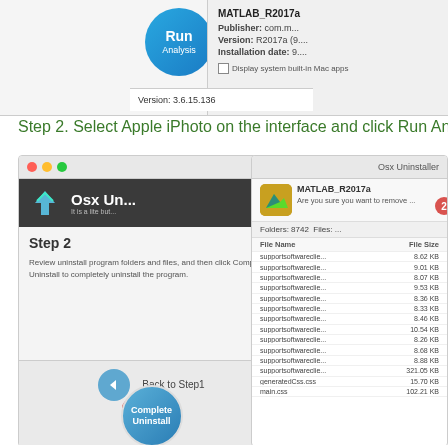[Figure (screenshot): Top portion of an Osx Uninstaller interface showing Run Analysis button and MATLAB info panel with Publisher, Version, Installation date fields and Version: 3.6.15.136 shown at the bottom]
Step 2. Select Apple iPhoto on the interface and click Run An...
[Figure (screenshot): Composite screenshot showing Osx Uninstaller Step 2 interface on the left (with Step 2 label, review instructions, Back to Step1 button, and Complete Uninstall circle with badge 1 and red arrow) and a file removal confirmation dialog on the right (MATLAB_R2017a with 'Are you sure you want to remove' message, badge 2, Folders: 8742, Files listing supportsoftwareclie... entries with KB sizes, generatedCss.css 15.70 KB, main.css 102.21 KB)]